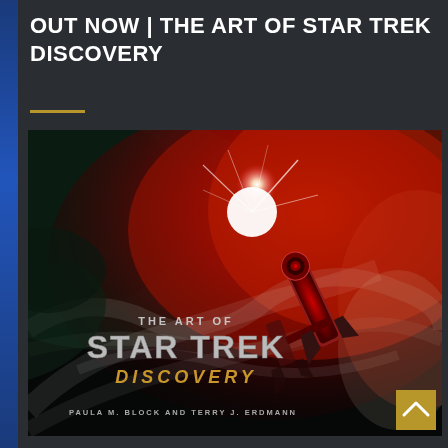OUT NOW | THE ART OF STAR TREK DISCOVERY
[Figure (photo): Book cover of 'The Art of Star Trek Discovery' by Paula M. Block and Terry J. Erdmann. The cover shows a dramatic red nebula/cosmic scene from space with a starship visible in the lower right. Text on the cover reads: 'THE ART OF STAR TREK DISCOVERY' and 'PAULA M. BLOCK AND TERRY J. ERDMANN'.]